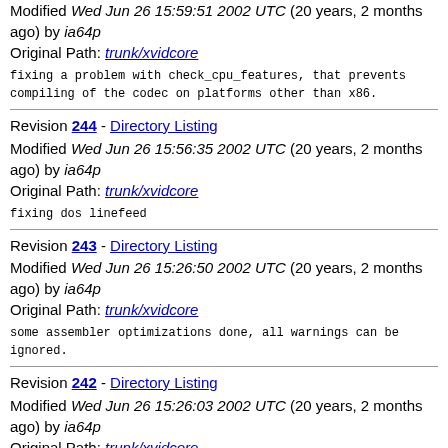Modified Wed Jun 26 15:59:51 2002 UTC (20 years, 2 months ago) by ia64p
Original Path: trunk/xvidcore
fixing a problem with check_cpu_features, that prevents
compiling of the codec on platforms other than x86.
Revision 244 - Directory Listing
Modified Wed Jun 26 15:56:35 2002 UTC (20 years, 2 months ago) by ia64p
Original Path: trunk/xvidcore
fixing dos linefeed
Revision 243 - Directory Listing
Modified Wed Jun 26 15:26:50 2002 UTC (20 years, 2 months ago) by ia64p
Original Path: trunk/xvidcore
some assembler optimizations done, all warnings can be
ignored.
Revision 242 - Directory Listing
Modified Wed Jun 26 15:26:03 2002 UTC (20 years, 2 months ago) by ia64p
Original Path: trunk/xvidcore